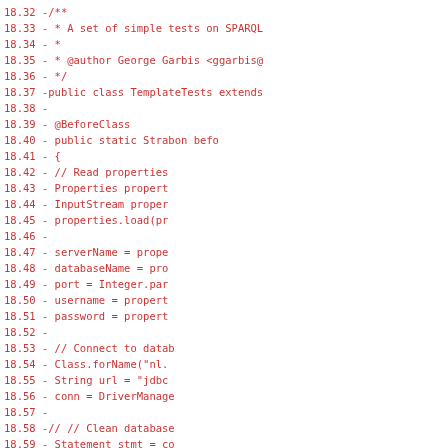Code diff showing Java class TemplateTests with line numbers 18.32–18.64, displaying removed lines (prefixed with -) in red monospace font. Content includes class declaration, @BeforeClass setup method with property loading, database connection, and cleanup logic.